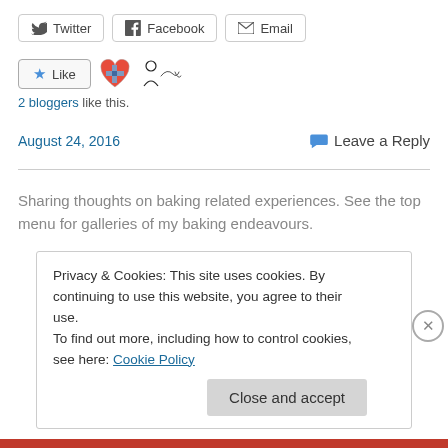[Figure (other): Share buttons row: Twitter, Facebook, Email buttons with icons]
[Figure (other): Like button with star icon, followed by two avatar/icon images (Norwegian flag heart, person silhouette with signature)]
2 bloggers like this.
August 24, 2016   Leave a Reply
Sharing thoughts on baking related experiences. See the top menu for galleries of my baking endeavours.
Privacy & Cookies: This site uses cookies. By continuing to use this website, you agree to their use.
To find out more, including how to control cookies, see here: Cookie Policy
Close and accept